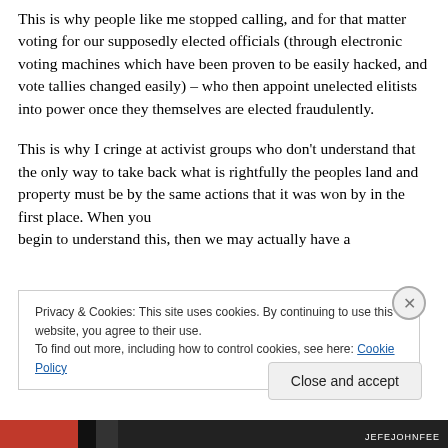This is why people like me stopped calling, and for that matter voting for our supposedly elected officials (through electronic voting machines which have been proven to be easily hacked, and vote tallies changed easily) – who then appoint unelected elitists into power once they themselves are elected fraudulently.

This is why I cringe at activist groups who don't understand that the only way to take back what is rightfully the peoples land and property must be by the same actions that it was won by in the first place. When you begin to understand this, then we may actually have a
Privacy & Cookies: This site uses cookies. By continuing to use this website, you agree to their use.
To find out more, including how to control cookies, see here: Cookie Policy
Close and accept